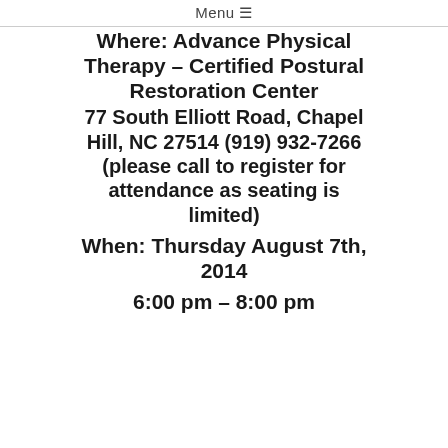Menu ≡
Where: Advance Physical Therapy – Certified Postural Restoration Center
77 South Elliott Road, Chapel Hill, NC 27514 (919) 932-7266 (please call to register for attendance as seating is limited)
When: Thursday August 7th, 2014
6:00 pm – 8:00 pm